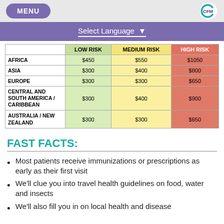MENU | CFM logo
Select Language ▼
|  | LOW RISK | MEDIUM RISK | HIGH RISK |
| --- | --- | --- | --- |
| AFRICA | $450 | $550 | $1050 |
| ASIA | $300 | $400 | $800 |
| EUROPE | $300 | $300 | $650 |
| CENTRAL AND SOUTH AMERICA / CARIBBEAN | $300 | $400 | $900 |
| AUSTRALIA / NEW ZEALAND | $300 | $300 | $650 |
FAST FACTS:
Most patients receive immunizations or prescriptions as early as their first visit
We'll clue you into travel health guidelines on food, water and insects
We'll also fill you in on local health and disease